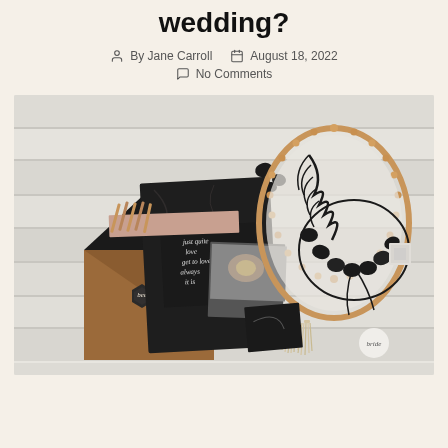wedding?
By Jane Carroll  August 18, 2022  No Comments
[Figure (photo): Flat lay of wedding stationery and accessories on a white wood surface, including a dark envelope, invitation cards with calligraphy, a copper-trimmed oval mirror, a floral wreath necklace with black stones, and decorative elements.]